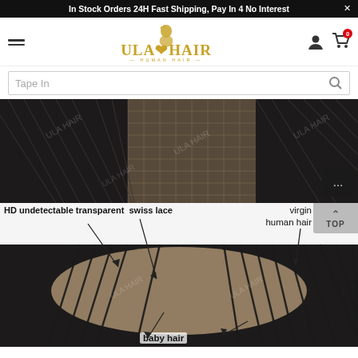In Stock Orders 24H Fast Shipping, Pay In 4 No Interest
[Figure (logo): Ula Hair logo with golden text and woman silhouette icon, subtitle 'HUMAN HAIR']
Tape In
[Figure (photo): Close-up of HD undetectable transparent swiss lace closure product with watermark 'ULA HAIR']
[Figure (photo): Annotated product photo showing lace closure on skin with labels: 'HD undetectable transparent swiss lace', 'virgin human hair', 'baby hair']